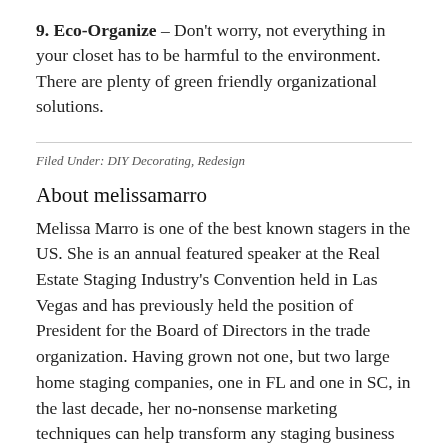9. Eco-Organize – Don't worry, not everything in your closet has to be harmful to the environment. There are plenty of green friendly organizational solutions.
Filed Under: DIY Decorating, Redesign
About melissamarro
Melissa Marro is one of the best known stagers in the US. She is an annual featured speaker at the Real Estate Staging Industry's Convention held in Las Vegas and has previously held the position of President for the Board of Directors in the trade organization. Having grown not one, but two large home staging companies, one in FL and one in SC, in the last decade, her no-nonsense marketing techniques can help transform any staging business into a